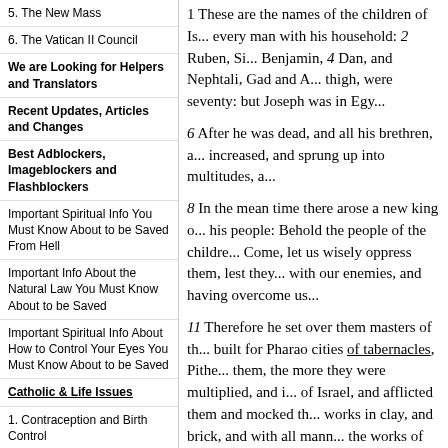5. The New Mass
6. The Vatican II Council
We are Looking for Helpers and Translators
Recent Updates, Articles and Changes
Best Adblockers, Imageblockers and Flashblockers
Important Spiritual Info You Must Know About to be Saved From Hell
Important Info About the Natural Law You Must Know About to be Saved
Important Spiritual Info About How to Control Your Eyes You Must Know About to be Saved
Catholic & Life Issues
1. Contraception and Birth Control
- 1.1. One must always desire to beget Children in order to perform the marital act
2. Most Holy Family Monastery Exposed
3. Sacraments from
1 These are the names of the children of Israel, every man with his household: 2 Ruben, Si... Benjamin, 4 Dan, and Nephtali, Gad and A... thigh, were seventy: but Joseph was in Egy...
6 After he was dead, and all his brethren, a... increased, and sprung up into multitudes, a...
8 In the mean time there arose a new king o... his people: Behold the people of the childre... Come, let us wisely oppress them, lest they... with our enemies, and having overcome us...
11 Therefore he set over them masters of th... built for Pharao cities of tabernacles, Pithe... them, the more they were multiplied, and i... of Israel, and afflicted them and mocked th... works in clay, and brick, and with all mann... the works of the earth. 15 And the king of I... whom one was called Sephora, the other Ph...
11 "Of tabernacles" Our fast...